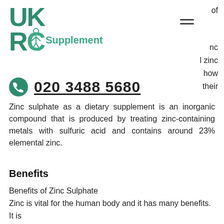[Figure (logo): UKRC Supplement logo with teal/green letters and dancer figure]
of
nc
l zinc
how
their
020 3488 5680
Zinc sulphate as a dietary supplement is an inorganic compound that is produced by treating zinc-containing metals with sulfuric acid and contains around 23% elemental zinc.
Benefits
Benefits of Zinc Sulphate
Zinc is vital for the human body and it has many benefits. It is